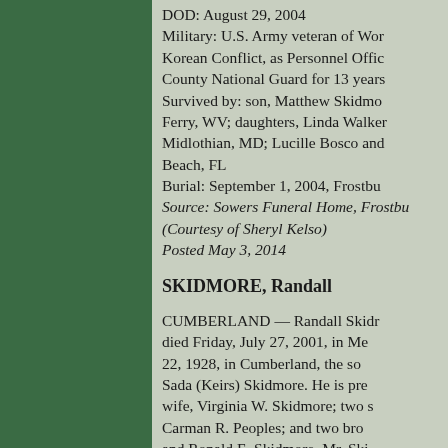DOD: August 29, 2004 Military: U.S. Army veteran of World War II and Korean Conflict, as Personnel Officer; Allegany County National Guard for 13 years. Survived by: son, Matthew Skidmore, Harpers Ferry, WV; daughters, Linda Walker and husband, Midlothian, MD; Lucille Bosco and husband, Boynton Beach, FL Burial: September 1, 2004, Frostburg Source: Sowers Funeral Home, Frostburg (Courtesy of Sheryl Kelso) Posted May 3, 2014
SKIDMORE, Randall
CUMBERLAND — Randall Skidmore died Friday, July 27, 2001, in Me... 22, 1928, in Cumberland, the son of... Sada (Keirs) Skidmore. He is pre... wife, Virginia W. Skidmore; two s... Carman R. Peoples; and two bro... and Ronald E. Skidmore. Mr. Ski... Potomac Lodge 199 A F and...